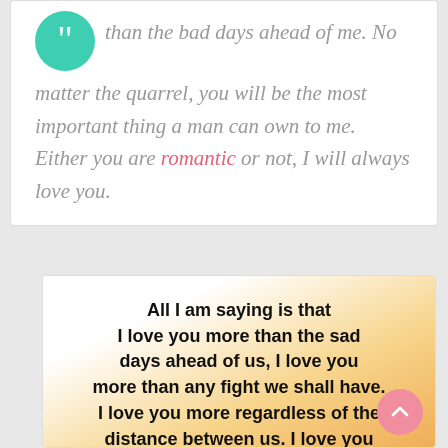than the bad days ahead of me. No matter the quarrel, you will be the most important thing a man can own to me. Either you are romantic or not, I will always love you.
[Figure (illustration): Teal/green circular quotation mark icon]
All I am saying is that I love you more than the sad days ahead of us, I love you more than any fight we shall have. I love you more regardless of the distance between us. I love you more than any obstacle, which could